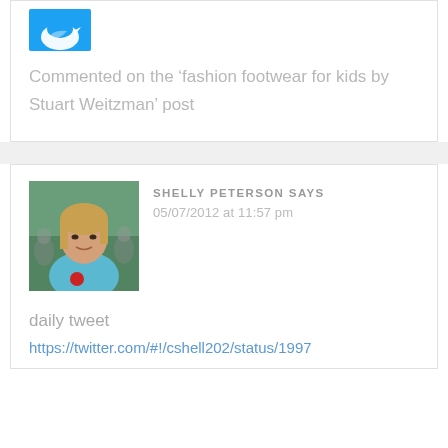[Figure (logo): Twitter bird logo icon on blue background, partially visible at top]
Commented on the ‘fashion footwear for kids by Stuart Weitzman’ post
[Figure (photo): Profile photo of Shelly Peterson, a woman with blonde hair wearing a teal/blue top, outdoors]
SHELLY PETERSON SAYS
05/07/2012 at 11:57 pm
daily tweet
https://twitter.com/#!/cshell202/status/1997...